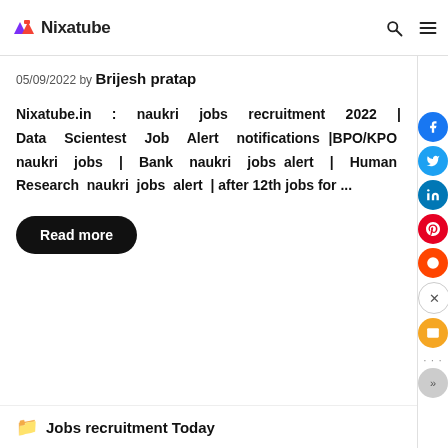Nixatube
05/09/2022 by Brijesh pratap
Nixatube.in : naukri jobs recruitment 2022 | Data Scientest Job Alert notifications |BPO/KPO naukri jobs | Bank naukri jobs alert | Human Research naukri jobs alert | after 12th jobs for ...
Read more
Jobs recruitment Today